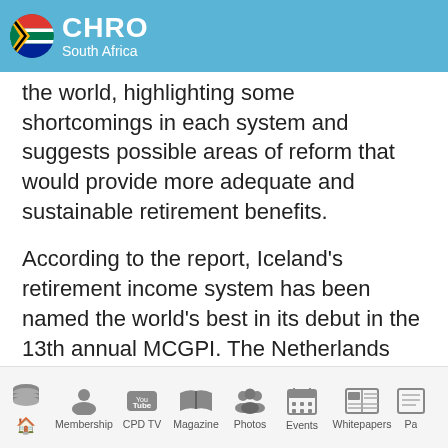CHRO South Africa
the world, highlighting some shortcomings in each system and suggests possible areas of reform that would provide more adequate and sustainable retirement benefits.
According to the report, Iceland’s retirement income system has been named the world’s best in its debut in the 13th annual MCGPI. The Netherlands and Denmark have taken second and third places respectively in the rankings, after a decade of competing for the top spot. The study also reveals
that there is much that pension systems can do to
Home | Membership | CPD TV | Magazine | Photos | Events | Whitepapers | Pa...